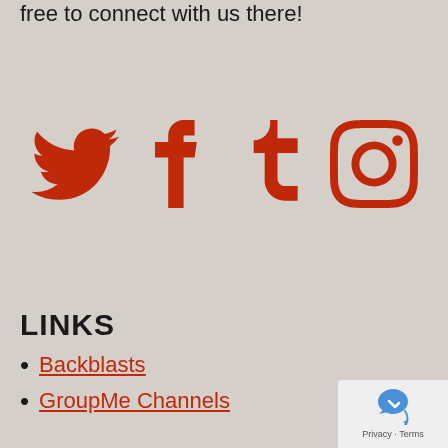We stay pretty active on social media, so feel free to connect with us there!
[Figure (illustration): Four social media icons in red: Twitter bird, Facebook 'f', Tumblr 't', Instagram camera]
LINKS
Backblasts
GroupMe Channels